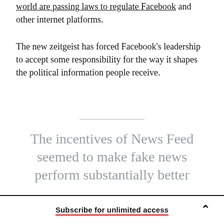…they highlight that governments around the world are passing laws to regulate Facebook and other internet platforms.
The new zeitgeist has forced Facebook's leadership to accept some responsibility for the way it shapes the political information people receive.
The incentives of News Feed seemed to make fake news perform substantially better
Subscribe for unlimited access